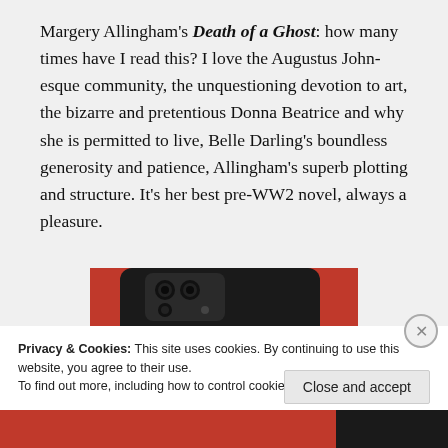Margery Allingham's Death of a Ghost: how many times have I read this? I love the Augustus John-esque community, the unquestioning devotion to art, the bizarre and pretentious Donna Beatrice and why she is permitted to live, Belle Darling's boundless generosity and patience, Allingham's superb plotting and structure. It's her best pre-WW2 novel, always a pleasure.
[Figure (photo): Partial view of a red smartphone on a red background, showing the corner with camera module]
Privacy & Cookies: This site uses cookies. By continuing to use this website, you agree to their use.
To find out more, including how to control cookies, see here: Cookie Policy
Close and accept